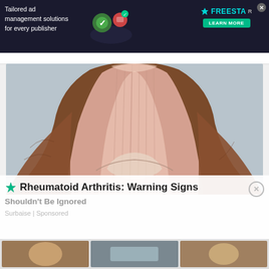[Figure (screenshot): Advertisement banner: 'Tailored ad management solutions for every publisher' with Freestar logo and 'LEARN MORE' button on dark background]
[Figure (photo): Close-up macro photograph of a human fingertip/fingernail showing vertical ridges on the nail surface, possibly indicating rheumatoid arthritis signs]
Rheumatoid Arthritis: Warning Signs
Shouldn't Be Ignored
Surbaise | Sponsored
[Figure (photo): Thumbnail strip of additional article images at the bottom of the page]